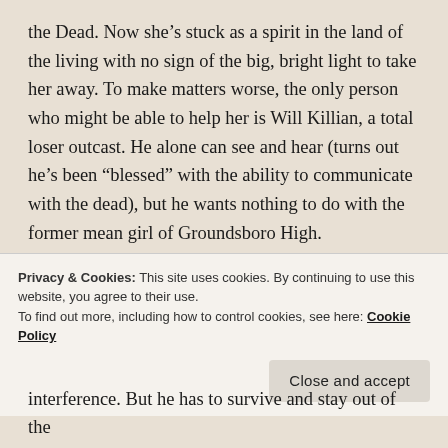the Dead. Now she's stuck as a spirit in the land of the living with no sign of the big, bright light to take her away. To make matters worse, the only person who might be able to help her is Will Killian, a total loser outcast. He alone can see and hear (turns out he's been "blessed" with the ability to communicate with the dead), but he wants nothing to do with the former mean girl of Groundsboro High.
Alona has never needed anyone for anything, and now she's supposed to expose her deepest, darkest secrets to this pseudo-goth boy? Right. She's not telling anyone what really happened the day she died, not even to save
Privacy & Cookies: This site uses cookies. By continuing to use this website, you agree to their use.
To find out more, including how to control cookies, see here: Cookie Policy
interference. But he has to survive and stay out of the